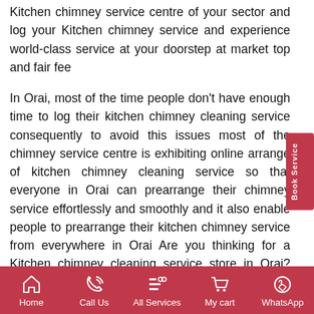Kitchen chimney service centre of your sector and log your Kitchen chimney service and experience world-class service at your doorstep at market top and fair fee
In Orai, most of the time people don't have enough time to log their kitchen chimney cleaning service consequently to avoid this issues most of the chimney service centre is exhibiting online arrange of kitchen chimney cleaning service so that everyone in Orai can prearrange their chimney service effortlessly and smoothly and it also enable people to prearrange their kitchen chimney service from everywhere in Orai Are you thinking for a Kitchen chimney cleaning service store in Orai? Don't worry; your cast around has landed you at the proper place as we are Orai's top Kitchen chimney service marketplace, and we mainly
Home | Call Us | All Services | My cart | WhatsApp